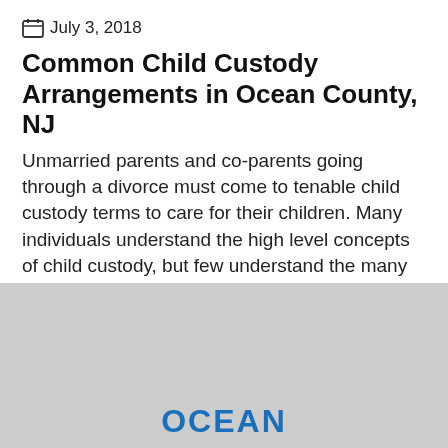July 3, 2018
Common Child Custody Arrangements in Ocean County, NJ
Unmarried parents and co-parents going through a divorce must come to tenable child custody terms to care for their children. Many individuals understand the high level concepts of child custody, but few understand the many possibilities which are afforded to New Jersey parents. In fact, the Family Courts condone and even encourage co-parents to reach their own custody
[Figure (other): Gray banner at bottom of page with 'OCEAN' text in bold blue letters]